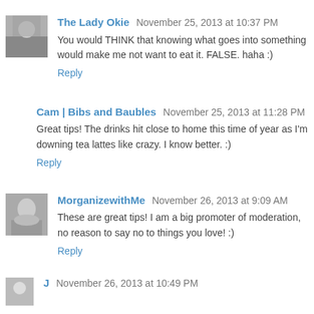The Lady Okie  November 25, 2013 at 10:37 PM
You would THINK that knowing what goes into something would make me not want to eat it. FALSE. haha :)
Reply
Cam | Bibs and Baubles  November 25, 2013 at 11:28 PM
Great tips! The drinks hit close to home this time of year as I'm downing tea lattes like crazy. I know better. :)
Reply
MorganizewithMe  November 26, 2013 at 9:09 AM
These are great tips! I am a big promoter of moderation, no reason to say no to things you love! :)
Reply
J  November 26, 2013 at 10:49 PM